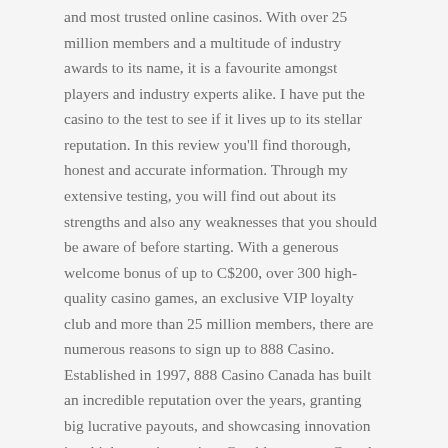and most trusted online casinos. With over 25 million members and a multitude of industry awards to its name, it is a favourite amongst players and industry experts alike. I have put the casino to the test to see if it lives up to its stellar reputation. In this review you'll find thorough, honest and accurate information. Through my extensive testing, you will find out about its strengths and also any weaknesses that you should be aware of before starting. With a generous welcome bonus of up to C$200, over 300 high-quality casino games, an exclusive VIP loyalty club and more than 25 million members, there are numerous reasons to sign up to 888 Casino. Established in 1997, 888 Casino Canada has built an incredible reputation over the years, granting big lucrative payouts, and showcasing innovation in a high-security setting. Gamblers across Canada have been winning big here for decades, and the brand continues to innovate producing award-winning products, including it's the ever-popular sports betting platform, the 888 live Casino collection, and exhilarating entertainment at every turn.